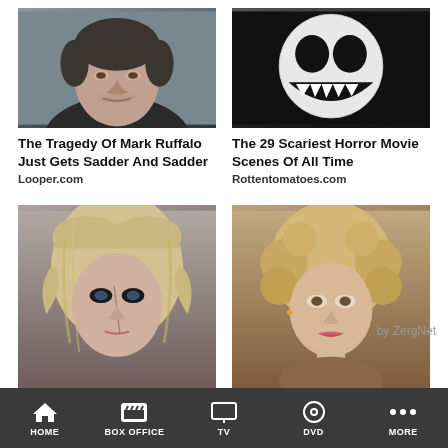[Figure (photo): Headshot of Mark Ruffalo, middle-aged man with stubble]
[Figure (photo): Scary horror movie image - white mask with sharp teeth on black background]
The Tragedy Of Mark Ruffalo Just Gets Sadder And Sadder
The 29 Scariest Horror Movie Scenes Of All Time
Looper.com
Rottentomatoes.com
[Figure (photo): Young blonde woman with dark eye makeup]
[Figure (photo): Attractive woman with curly blonde hair]
Underrated Series On Netflix That Are Total Hidden Gems
Love Scenes That Everyone Agrees Took Things Too Far
Rottentomatoes.com
Looper.com
by ZergNet
HOME  BOX OFFICE  TV  DVD  MORE